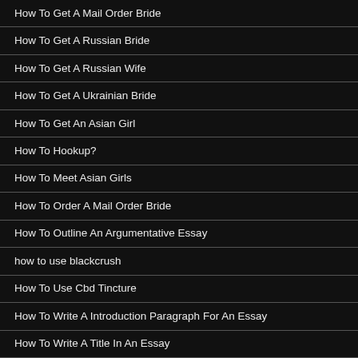How To Get A Mail Order Bride
How To Get A Russian Bride
How To Get A Russian Wife
How To Get A Ukrainian Bride
How To Get An Asian Girl
How To Hookup?
How To Meet Asian Girls
How To Order A Mail Order Bride
How To Outline An Argumentative Essay
how to use blackcrush
How To Use Cbd Tincture
How To Write A Introduction Paragraph For An Essay
How To Write A Title In An Essay